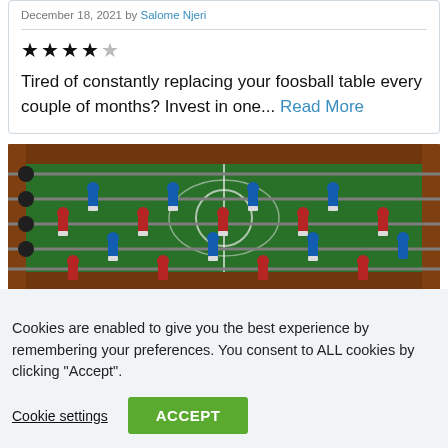December 18, 2021 by Salome Njeri
★★★★☆
Tired of constantly replacing your foosball table every couple of months? Invest in one... Read More
[Figure (photo): Close-up photo of a foosball table with blue and red player figurines on metal rods over a green playing field with white line markings]
Cookies are enabled to give you the best experience by remembering your preferences. You consent to ALL cookies by clicking "Accept".
Cookie settings
ACCEPT